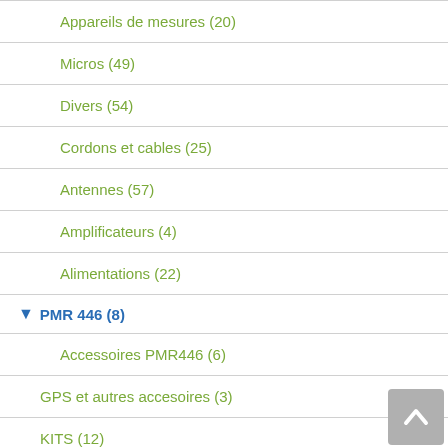Appareils de mesures (20)
Micros (49)
Divers (54)
Cordons et cables (25)
Antennes (57)
Amplificateurs (4)
Alimentations (22)
PMR 446 (8)
Accessoires PMR446 (6)
GPS et autres accesoires (3)
KITS (12)